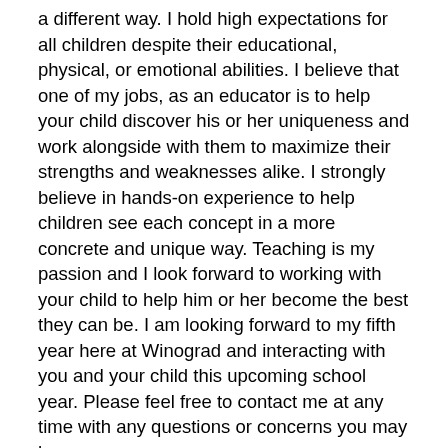a different way. I hold high expectations for all children despite their educational, physical, or emotional abilities. I believe that one of my jobs, as an educator is to help your child discover his or her uniqueness and work alongside with them to maximize their strengths and weaknesses alike. I strongly believe in hands-on experience to help children see each concept in a more concrete and unique way. Teaching is my passion and I look forward to working with your child to help him or her become the best they can be. I am looking forward to my fifth year here at Winograd and interacting with you and your child this upcoming school year. Please feel free to contact me at any time with any questions or concerns you may have.
I look forward to working with you and your child in making this a successful second grade year! If you have any questions or concerns, please feel free to come by and visit. I am available before school from 7:30-7:45 am and after school from 3:45-4:00...